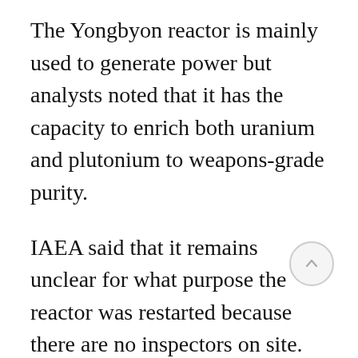The Yongbyon reactor is mainly used to generate power but analysts noted that it has the capacity to enrich both uranium and plutonium to weapons-grade purity.
IAEA said that it remains unclear for what purpose the reactor was restarted because there are no inspectors on site. North Korea kicked out the watchdog's inspectors in 2009, which prevents the agency from thoroughly monitoring the country's nuclear